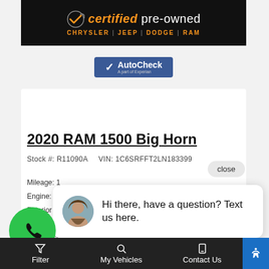[Figure (logo): Certified Pre-Owned Chrysler Jeep Dodge RAM logo on black background]
[Figure (logo): AutoCheck A part of Experian logo badge in blue]
2020 RAM 1500 Big Horn
Stock #: R11090A   VIN: 1C6SRFFT2LN183399
close
Mileage: 1
Engine: 5.
Exterior C
Interior Co
Transmission: Automatic
[Figure (illustration): Chat popup with female avatar photo and text: Hi there, have a question? Text us here.]
Hi there, have a question? Text us here.
[Figure (illustration): Green circle phone call button]
Price:
[Figure (screenshot): Gray chat icon button and orange message icon button partially visible]
Filter   My Vehicles   Contact Us